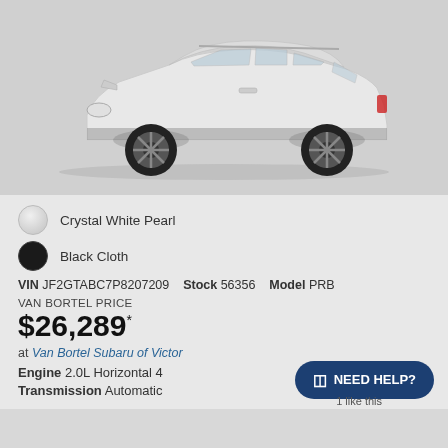[Figure (photo): Side profile of a white Subaru Crosstrek SUV on a gray background]
Crystal White Pearl
Black Cloth
VIN JF2GTABC7P8207209   Stock 56356   Model PRB
VAN BORTEL PRICE
$26,289*
at Van Bortel Subaru of Victor
Engine 2.0L Horizontal 4
Transmission Automatic
NEED HELP?
1 like this